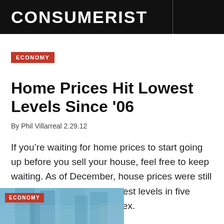CONSUMERIST
ECONOMY
Home Prices Hit Lowest Levels Since '06
By Phil Villarreal 2.29.12
If you’re waiting for home prices to start going up before you sell your house, feel free to keep waiting. As of December, house prices were still slipping, reaching their lowest levels in five years according to one index.
[Figure (photo): Partial view of a building exterior with blue tones, overlaid with a red ECONOMY badge]